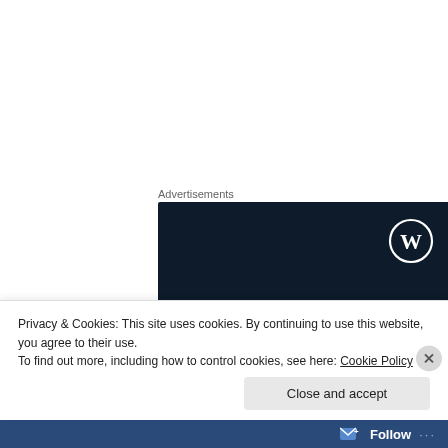Advertisements
[Figure (illustration): WordPress advertisement banner on dark navy background. Shows WordPress logo (W in circle) top right. Text reads 'Opinions. We all have them!' in white serif font. Red bar decoration at bottom left, circular button element bottom right.]
Privacy & Cookies: This site uses cookies. By continuing to use this website, you agree to their use.
To find out more, including how to control cookies, see here: Cookie Policy
Close and accept
Follow ···